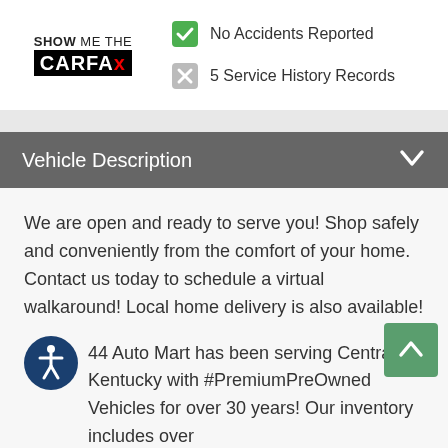[Figure (logo): Show Me The CARFAX logo — black box with white bold text]
No Accidents Reported
5 Service History Records
Vehicle Description
We are open and ready to serve you! Shop safely and conveniently from the comfort of your home. Contact us today to schedule a virtual walkaround! Local home delivery is also available!
44 Auto Mart has been serving Central Kentucky with #PremiumPreOwned Vehicles for over 30 years! Our inventory includes over